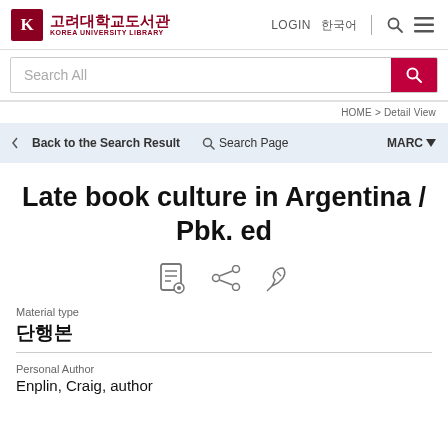고려대학교도서관 KOREA UNIVERSITY LIBRARY | LOGIN 한국어
Search All
HOME > Detail View
< Back to the Search Result   Search Page   MARC▼
Late book culture in Argentina / Pbk. ed
Material type
단행본
Personal Author
Enplin, Craig, author